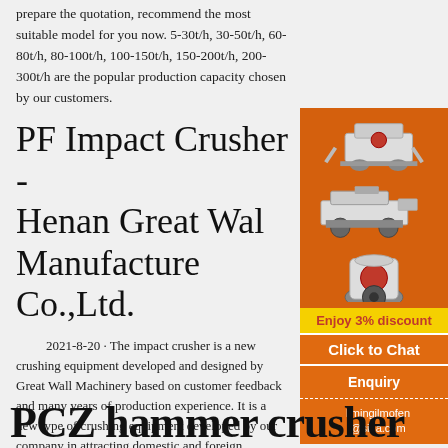prepare the quotation, recommend the most suitable model for you now. 5-30t/h, 30-50t/h, 60-80t/h, 80-100t/h, 100-150t/h, 150-200t/h, 200-300t/h are the popular production capacity chosen by our customers.
PF Impact Crusher - Henan Great Wall Manufacture Co.,Ltd.
[Figure (illustration): Advertisement panel showing three industrial crushing machines on an orange background, with 'Enjoy 3% discount', 'Click to Chat', 'Enquiry', and 'limingjlmofen@sina.com' sections]
2021-8-20 · The impact crusher is a new crushing equipment developed and designed by Great Wall Machinery based on customer feedback and many years of production experience. It is a new type of crushing equipment developed by our company in attracting domestic and foreign advanced technologies and combining with the specific conditions of the c...
PCZ hammer crusher